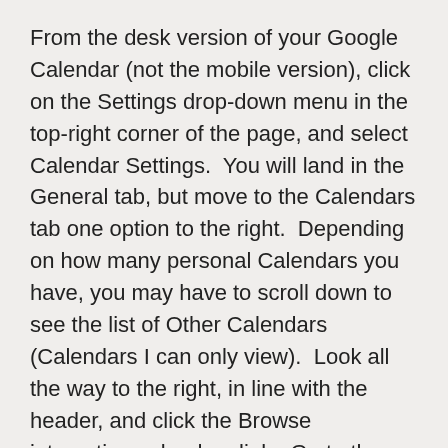From the desk version of your Google Calendar (not the mobile version), click on the Settings drop-down menu in the top-right corner of the page, and select Calendar Settings.  You will land in the General tab, but move to the Calendars tab one option to the right.  Depending on how many personal Calendars you have, you may have to scroll down to see the list of Other Calendars (Calendars I can only view).  Look all the way to the right, in line with the header, and click the Browse interesting calendars link.  Go to the More tab, and subscribe to the calendar called Contacts' birthdays and events.
Note that as of now, you cannot add notifications — by email or SMS, for instance — to your Contacts' birthdays and events on Google Calendar unless you also copy individual items to a personal calendar (open the event and select copy to my calendar), but still, this is far less